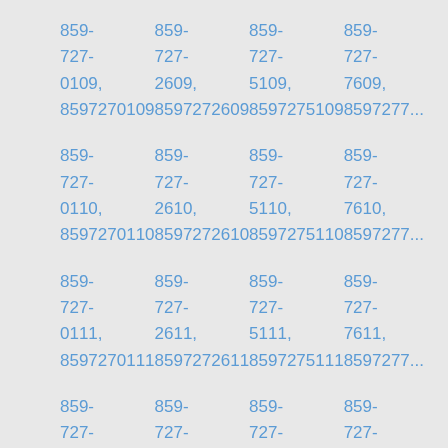859-727-0109, 8597270109
859-727-2609, 8597272609
859-727-5109, 8597275109
859-727-7609, 8597277609
859-727-0110, 8597270110
859-727-2610, 8597272610
859-727-5110, 8597275110
859-727-7610, 8597277610
859-727-0111, 8597270111
859-727-2611, 8597272611
859-727-5111, 8597275111
859-727-7611, 8597277611
859-727-0112,
859-727-2612,
859-727-5112,
859-727-7612,